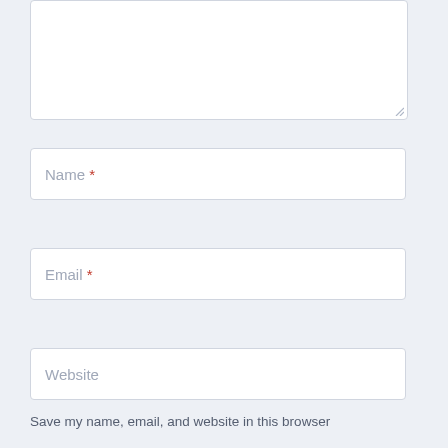[Figure (screenshot): Comment form textarea (empty, with resize handle in bottom right corner)]
Name *
Email *
Website
Save my name, email, and website in this browser